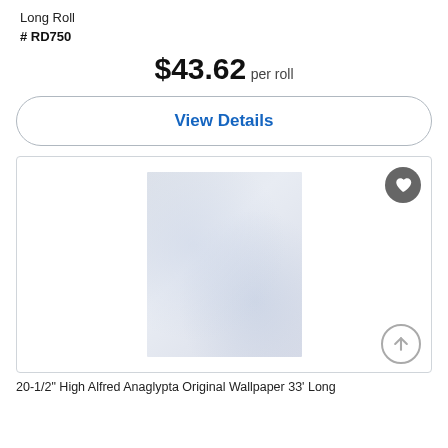Long Roll
#RD750
$43.62 per roll
View Details
[Figure (photo): Product image of white/light gray textured wallpaper in a bordered container with a heart icon button and an up-arrow icon button]
20-1/2" High Alfred Anaglypta Original Wallpaper 33' Long